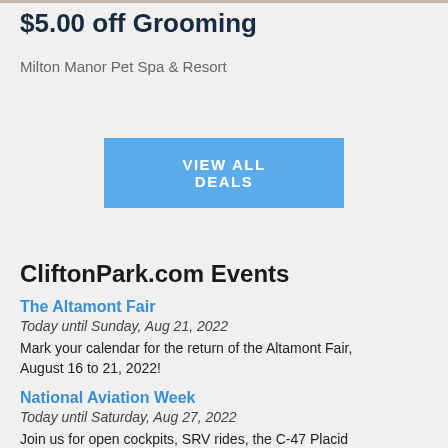$5.00 off Grooming
Milton Manor Pet Spa & Resort
[Figure (other): Blue button with text VIEW ALL DEALS]
CliftonPark.com Events
The Altamont Fair
Today until Sunday, Aug 21, 2022
Mark your calendar for the return of the Altamont Fair, August 16 to 21, 2022!
National Aviation Week
Today until Saturday, Aug 27, 2022
Join us for open cockpits, SRV rides, the C-47 Placid Lassie, C-130 tours, breakfast Aug 20, aviation crafts, lawn